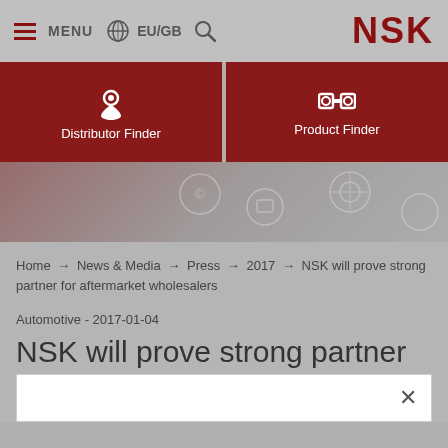MENU   EU/GB   NSK
[Figure (screenshot): Two red navigation buttons: Distributor Finder (with location pin icon) and Product Finder (with binoculars icon)]
[Figure (photo): Hero image showing a person holding a smartphone with digital icons overlay, partially obscured]
Home → News & Media → Press → 2017 → NSK will prove strong partner for aftermarket wholesalers
Automotive - 2017-01-04
NSK will prove strong partner for aftermarket wholesalers